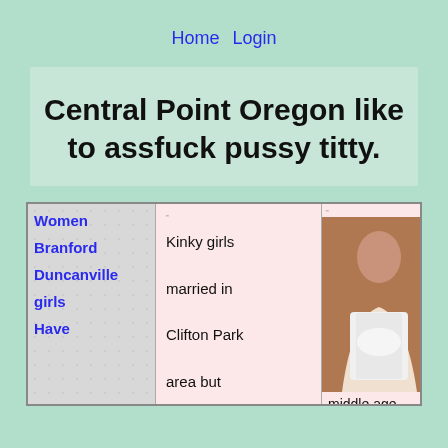Home Login
Central Point Oregon like to assfuck pussy titty.
| Women / Branford / Duncanville girls / Have | Kinky girls married in Clifton Park area but | [photo] | Kentucky Grayson milf fucks outside, older couple middle age |
| --- | --- | --- | --- |